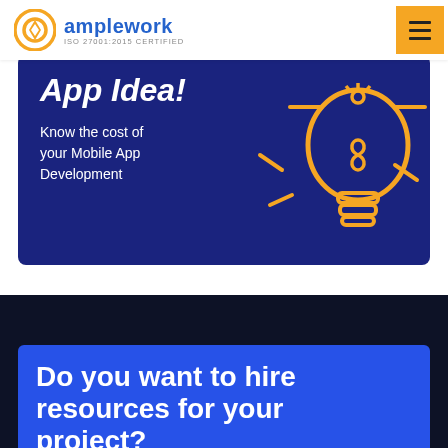[Figure (logo): Amplework logo with orange circular icon and blue text 'amplework' with 'ISO 27001:2015 CERTIFIED' below]
[Figure (illustration): Dark blue banner with large italic bold white text 'App Idea!' and white text 'Know the cost of your Mobile App Development', with orange outline lightbulb illustration on the right]
[Figure (infographic): Dark navy background section with blue card at bottom displaying bold white text 'Do you want to hire resources for your project?']